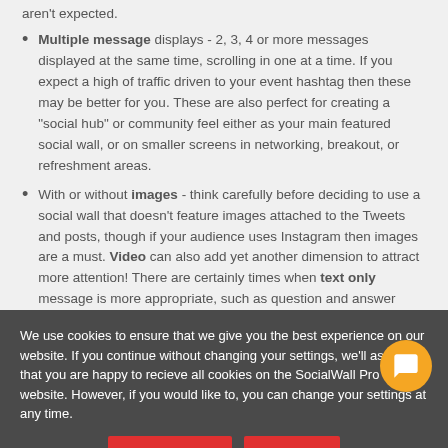aren't expected.
Multiple message displays - 2, 3, 4 or more messages displayed at the same time, scrolling in one at a time. If you expect a high of traffic driven to your event hashtag then these may be better for you. These are also perfect for creating a "social hub" or community feel either as your main featured social wall, or on smaller screens in networking, breakout, or refreshment areas.
With or without images - think carefully before deciding to use a social wall that doesn't feature images attached to the Tweets and posts, though if your audience uses Instagram then images are a must. Video can also add yet another dimension to attract more attention! There are certainly times when text only message is more appropriate, such as question and answer sessions, so
We use cookies to ensure that we give you the best experience on our website. If you continue without changing your settings, we'll assume that you are happy to recieve all cookies on the SocialWall Pro website. However, if you would like to, you can change your settings at any time.